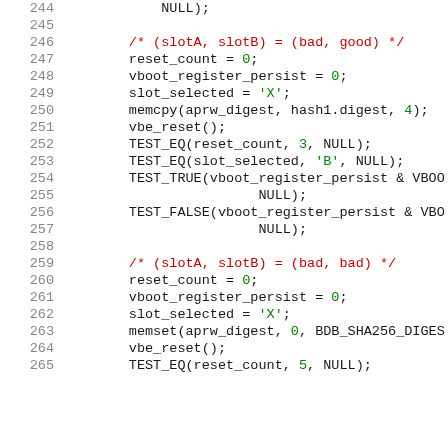[Figure (screenshot): Source code listing showing C test code with line numbers 244-265, featuring function calls like reset_count, vboot_register_persist, slot_selected, memcpy, vbe_reset, TEST_EQ, TEST_TRUE, TEST_FALSE, and memset with syntax highlighting: red for comments, green for numeric/string literals, dark for identifiers.]